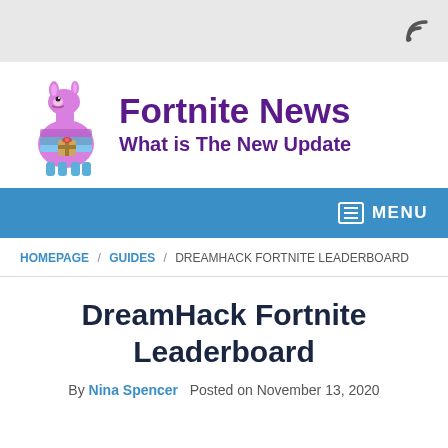RSS icon top bar
[Figure (logo): Fortnite News website header with llama mascot illustration and text 'Fortnite News / What is The New Update' in purple bold font]
MENU navigation bar
HOMEPAGE / GUIDES / DREAMHACK FORTNITE LEADERBOARD
DreamHack Fortnite Leaderboard
By Nina Spencer   Posted on November 13, 2020